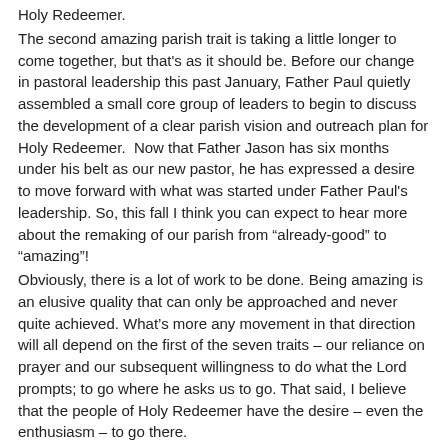Holy Redeemer.
The second amazing parish trait is taking a little longer to come together, but that's as it should be. Before our change in pastoral leadership this past January, Father Paul quietly assembled a small core group of leaders to begin to discuss the development of a clear parish vision and outreach plan for Holy Redeemer.  Now that Father Jason has six months under his belt as our new pastor, he has expressed a desire to move forward with what was started under Father Paul's leadership. So, this fall I think you can expect to hear more about the remaking of our parish from “already-good” to “amazing”!
Obviously, there is a lot of work to be done. Being amazing is an elusive quality that can only be approached and never quite achieved. What’s more any movement in that direction will all depend on the first of the seven traits – our reliance on prayer and our subsequent willingness to do what the Lord prompts; to go where he asks us to go. That said, I believe that the people of Holy Redeemer have the desire – even the enthusiasm – to go there.
So, let’s begin with the first trait now: Lord, make us what You want us to be!
Yours in Him,
Deacon Vince